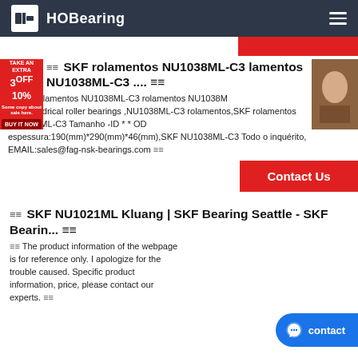HOBearing
SKF rolamentos NU1038ML-C3 lamentos NU1038ML-C3 .... ≡≡
SKF rolamentos NU1038ML-C3 rolamentos NU1038ML-C3 cylindrical roller bearings ,NU1038ML-C3 rolamentos,SKF rolamentos NU1038ML-C3 Tamanho -ID * * OD espessura:190(mm)*290(mm)*46(mm),SKF NU1038ML-C3 Todo o inquérito, EMAIL:sales@fag-nsk-bearings.com ≡≡
Contact Us
SKF NU1021ML Kluang | SKF Bearing Seattle - SKF Bearin... ≡≡
The product information of the webpage is for reference only. I apologize for the trouble caused. Specific product information, price, please contact our experts. ≡≡